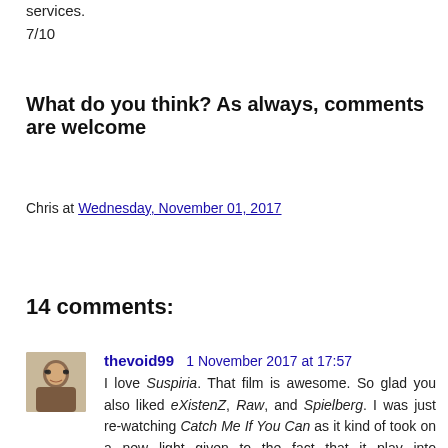services.
7/10
What do you think? As always, comments are welcome
Chris at Wednesday, November 01, 2017
Share
14 comments:
thevoid99  1 November 2017 at 17:57
I love Suspiria. That film is awesome. So glad you also liked eXistenZ, Raw, and Spielberg. I was just re-watching Catch Me If You Can as it kind of took on a new light given to the fact that it play into Spielberg's own themes of father-son relationships as I became more engaged towards the relationship between diCaprio and Walken as well as the